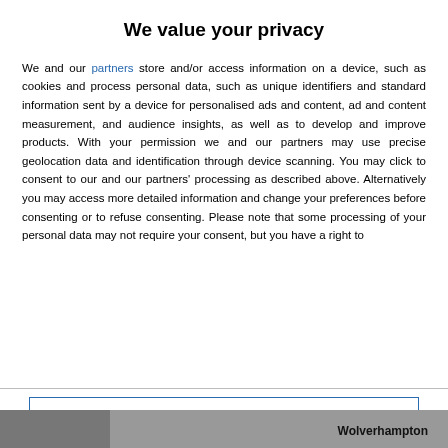[Figure (photo): Partial photo visible at top of page behind modal overlay]
We value your privacy
We and our partners store and/or access information on a device, such as cookies and process personal data, such as unique identifiers and standard information sent by a device for personalised ads and content, ad and content measurement, and audience insights, as well as to develop and improve products. With your permission we and our partners may use precise geolocation data and identification through device scanning. You may click to consent to our and our partners' processing as described above. Alternatively you may access more detailed information and change your preferences before consenting or to refuse consenting. Please note that some processing of your personal data may not require your consent, but you have a right to
AGREE
MORE OPTIONS
Wolverhampton
[Figure (photo): Partial photo visible at bottom of page]